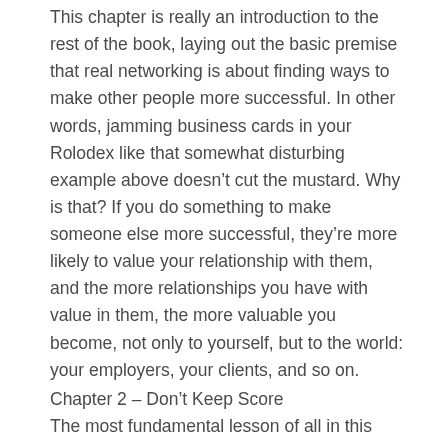This chapter is really an introduction to the rest of the book, laying out the basic premise that real networking is about finding ways to make other people more successful. In other words, jamming business cards in your Rolodex like that somewhat disturbing example above doesn't cut the mustard. Why is that? If you do something to make someone else more successful, they're more likely to value your relationship with them, and the more relationships you have with value in them, the more valuable you become, not only to yourself, but to the world: your employers, your clients, and so on.
Chapter 2 – Don't Keep Score
The most fundamental lesson of all in this